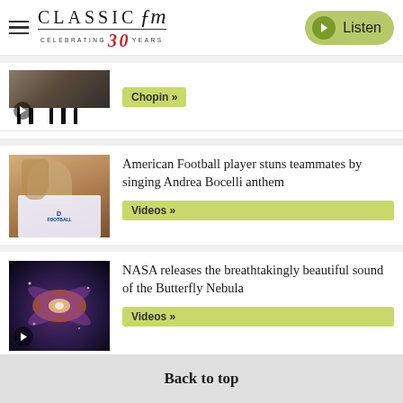Classic FM — Celebrating 30 Years | Listen
[Figure (screenshot): Thumbnail of piano player with play button, tagged Chopin]
Chopin »
[Figure (photo): American Football player with long hair in Duke Football t-shirt]
American Football player stuns teammates by singing Andrea Bocelli anthem
Videos »
[Figure (photo): NASA Butterfly Nebula space image with play button]
NASA releases the breathtakingly beautiful sound of the Butterfly Nebula
Videos »
Back to top